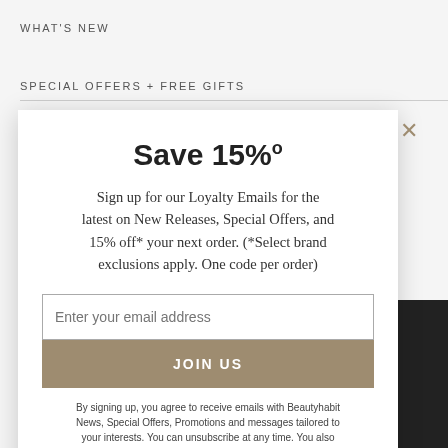WHAT'S NEW
SPECIAL OFFERS + FREE GIFTS
Save 15%
Sign up for our Loyalty Emails for the latest on New Releases, Special Offers, and 15% off* your next order. (*Select brand exclusions apply. One code per order)
Enter your email address
JOIN US
By signing up, you agree to receive emails with Beautyhabit News, Special Offers, Promotions and messages tailored to your interests. You can unsubscribe at any time. You also agree to our Privacy Policy.
[Figure (illustration): Cursive script text reading 'Stay beautiful.' over floral background with roses and eucalyptus]
get the best
Accept